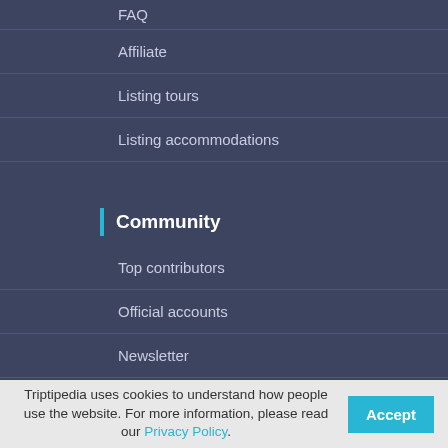FAQ
Affiliate
Listing tours
Listing accommodations
Community
Top contributors
Official accounts
Newsletter
Triptipedia
About
Blog
Contact
Triptipedia uses cookies to understand how people use the website. For more information, please read our Privacy Policy.